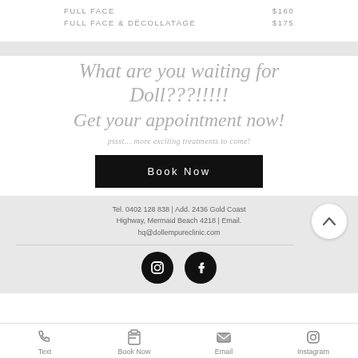FULL FACE  $160
FULL FACE & DÉCOLLATAGE  $175
What are you waiting for Doll???!!!!! Get your appointment now!
pssst… more exciting treatments to come!
Book Now
Tel. 0402 128 838  |  Add. 2436 Gold Coast Highway, Mermaid Beach 4218  |Email. hq@dollempureclinic.com
Text  Book Now  Email  Instagram